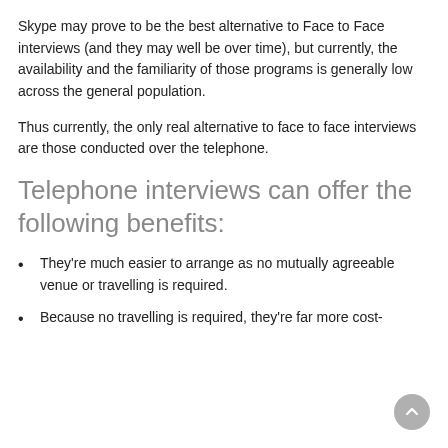Skype may prove to be the best alternative to Face to Face interviews (and they may well be over time), but currently, the availability and the familiarity of those programs is generally low across the general population.
Thus currently, the only real alternative to face to face interviews are those conducted over the telephone.
Telephone interviews can offer the following benefits:
They're much easier to arrange as no mutually agreeable venue or travelling is required.
Because no travelling is required, they're far more cost-